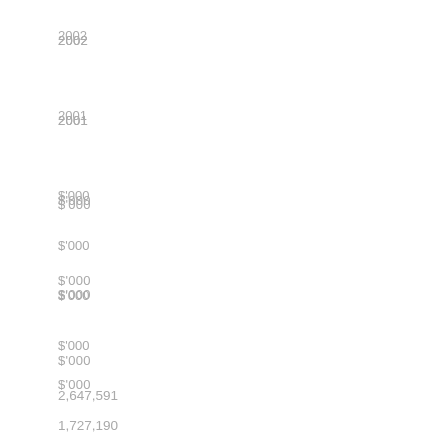2002
2001
$'000
$'000
$'000
$'000
2,647,591
1,727,190
–
–
94,237
101,440